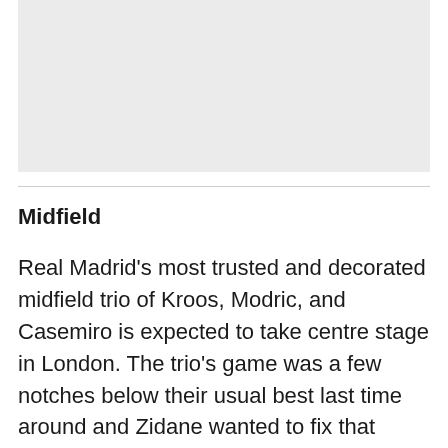[Figure (other): Gray placeholder image area]
Midfield
Real Madrid's most trusted and decorated midfield trio of Kroos, Modric, and Casemiro is expected to take centre stage in London. The trio's game was a few notches below their usual best last time around and Zidane wanted to fix that problem with the highest urgency. During the La Liga fixture against Osasuna on the weekend, both Modric and